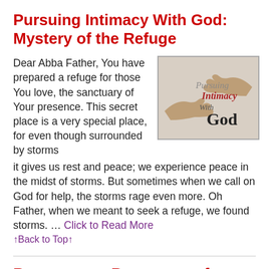Pursuing Intimacy With God: Mystery of the Refuge
Dear Abba Father,  You have prepared a refuge for those You love, the sanctuary of Your presence. This secret place is a very special place, for even though surrounded by storms it gives us rest and peace; we experience peace in the midst of storms. But sometimes when we call on God for help, the storms rage even more. Oh Father, when we meant to seek a refuge, we found storms.  …
[Figure (illustration): Book or media cover image for 'Pursuing Intimacy With God' showing two hands reaching toward each other with stylized text overlay reading 'Pursuing Intimacy With God']
… Click to Read More
↑Back to Top↑
Repentance: Repentance for Family02